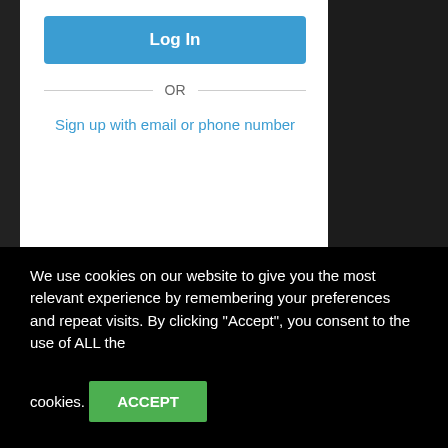[Figure (screenshot): Login card with blue Log In button, OR divider, and Sign up with email or phone number link on white background. Dark background with truck wheels visible on right.]
Quick Links
About Us
Grab Hire
Aggregates
Top Soil
We use cookies on our website to give you the most relevant experience by remembering your preferences and repeat visits. By clicking “Accept”, you consent to the use of ALL the cookies.